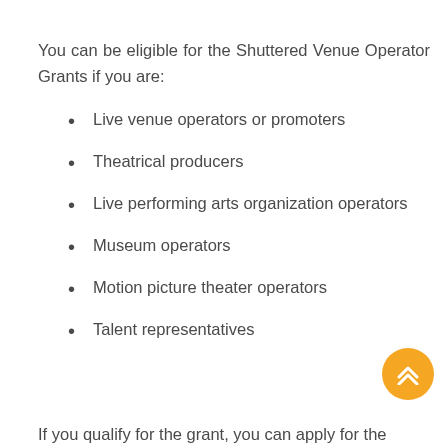You can be eligible for the Shuttered Venue Operator Grants if you are:
Live venue operators or promoters
Theatrical producers
Live performing arts organization operators
Museum operators
Motion picture theater operators
Talent representatives
If you qualify for the grant, you can apply for the